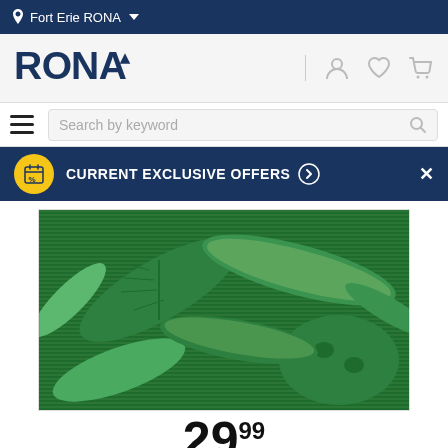Fort Erie RONA
[Figure (logo): RONA logo in dark navy blue with stylized mountain/arrow mark]
Search by keyword
CURRENT EXCLUSIVE OFFERS
[Figure (photo): Green tropical leaf pattern rug/mat product image with dark green and light green alternating leaf design]
29.99 each